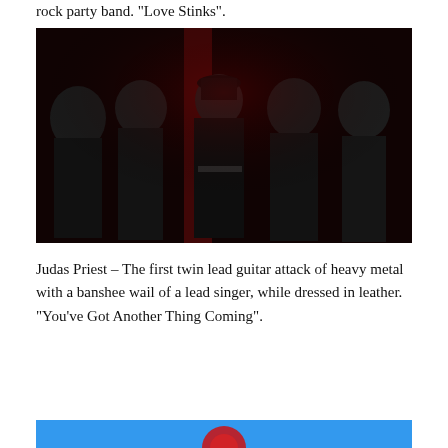rock party band. "Love Stinks".
[Figure (photo): Five members of Judas Priest in black leather outfits against a dark red and black background. The center figure wears a leather cap and sunglasses.]
Judas Priest – The first twin lead guitar attack of heavy metal with a banshee wail of a lead singer, while dressed in leather. "You've Got Another Thing Coming".
[Figure (photo): Partial view of another image at the bottom of the page, showing a blue and red background with partial circular shapes visible.]